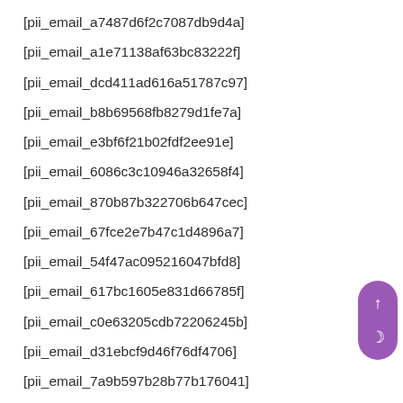[pii_email_a7487d6f2c7087db9d4a]
[pii_email_a1e71138af63bc83222f]
[pii_email_dcd411ad616a51787c97]
[pii_email_b8b69568fb8279d1fe7a]
[pii_email_e3bf6f21b02fdf2ee91e]
[pii_email_6086c3c10946a32658f4]
[pii_email_870b87b322706b647cec]
[pii_email_67fce2e7b47c1d4896a7]
[pii_email_54f47ac095216047bfd8]
[pii_email_617bc1605e831d66785f]
[pii_email_c0e63205cdb72206245b]
[pii_email_d31ebcf9d46f76df4706]
[pii_email_7a9b597b28b77b176041]